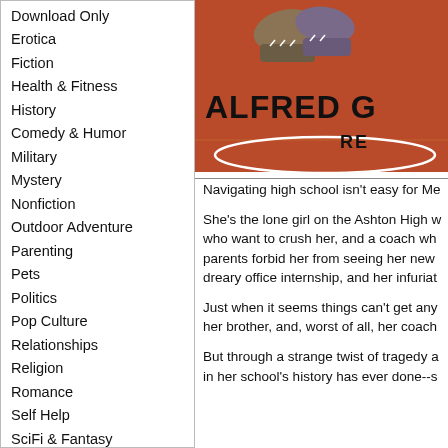Download Only
Erotica
Fiction
Health & Fitness
History
Comedy & Humor
Military
Mystery
Nonfiction
Outdoor Adventure
Parenting
Pets
Politics
Pop Culture
Relationships
Religion
Romance
Self Help
SciFi & Fantasy
Sports
Teen
[Figure (illustration): Book cover image showing sneakers on a red basketball court background with the text ALFRED G and RE visible]
Navigating high school isn't easy for Me
She's the lone girl on the Ashton High w who want to crush her, and a coach wh parents forbid her from seeing her new dreary office internship, and her infuriat
Just when it seems things can't get any her brother, and, worst of all, her coach
But through a strange twist of tragedy a in her school's history has ever done--s